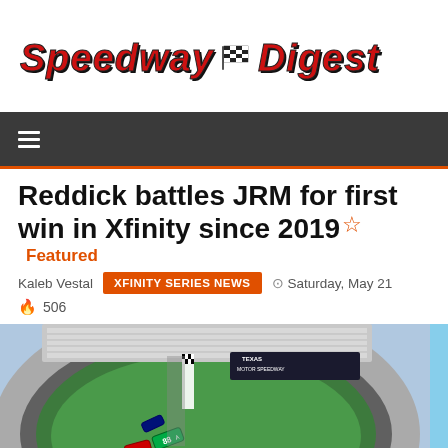[Figure (logo): Speedway Digest logo with checkered flag icon, red italic bold text]
≡ (navigation menu bar)
Reddick battles JRM for first win in Xfinity since 2019 Featured
Kaleb Vestal  XFINITY SERIES NEWS  ⊙ Saturday, May 21
🔥 506
[Figure (photo): Aerial/overhead photo of NASCAR race cars at Texas Motor Speedway, showing green #88 car crossing finish line with checkered flag being waved, Texas Motor Speedway signage visible]